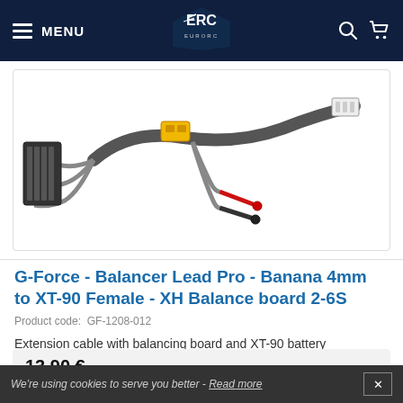MENU [logo: EuroRC] [search icon] [cart icon]
[Figure (photo): Product photo of G-Force Balancer Lead Pro cable with banana 4mm connectors, XT-90 female connector, and XH balance board for 2-6S batteries. Shows cables with balancing board attached.]
G-Force - Balancer Lead Pro - Banana 4mm to XT-90 Female - XH Balance board 2-6S
Product code: GF-1208-012
Extension cable with balancing board and XT-90 battery connector
13,90 €
Availability  In stock
We're using cookies to serve you better - Read more  ✕